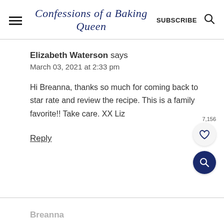Confessions of a Baking Queen  SUBSCRIBE
Elizabeth Waterson says
March 03, 2021 at 2:33 pm
Hi Breanna, thanks so much for coming back to star rate and review the recipe. This is a family favorite!! Take care. XX Liz
Reply